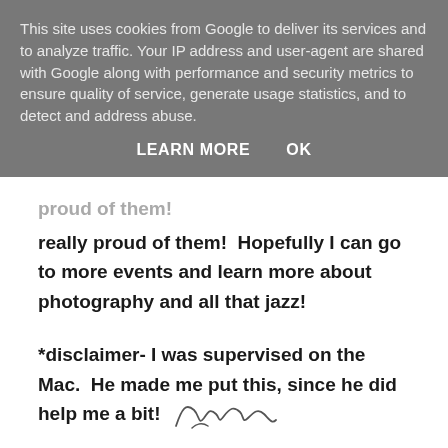This site uses cookies from Google to deliver its services and to analyze traffic. Your IP address and user-agent are shared with Google along with performance and security metrics to ensure quality of service, generate usage statistics, and to detect and address abuse.
LEARN MORE    OK
really proud of them!  Hopefully I can go to more events and learn more about photography and all that jazz!
*disclaimer- I was supervised on the Mac.  He made me put this, since he did help me a bit!
[Figure (illustration): Handwritten signature at the bottom of the page]